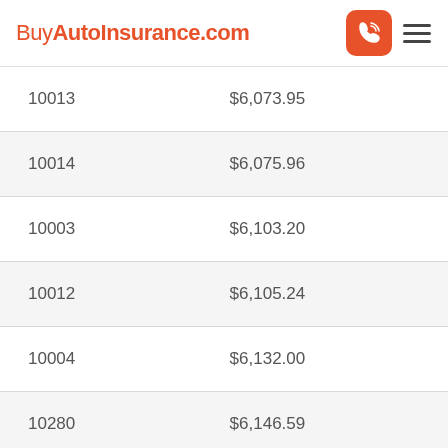BuyAutoInsurance.com
| 10013 | $6,073.95 |
| 10014 | $6,075.96 |
| 10003 | $6,103.20 |
| 10012 | $6,105.24 |
| 10004 | $6,132.00 |
| 10280 | $6,146.59 |
| 10005 | $6,150.55 |